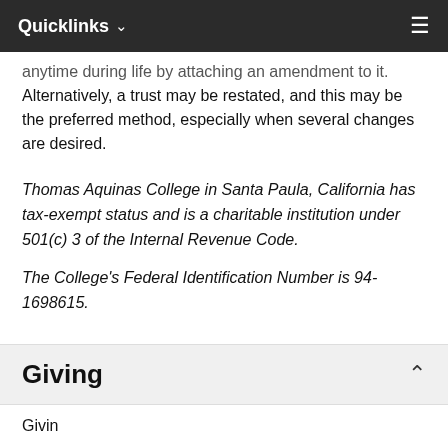Quicklinks ∨  ☰
anytime during life by attaching an amendment to it. Alternatively, a trust may be restated, and this may be the preferred method, especially when several changes are desired.
Thomas Aquinas College in Santa Paula, California has tax-exempt status and is a charitable institution under 501(c) 3 of the Internal Revenue Code.
The College's Federal Identification Number is 94-1698615.
Giving
Givin